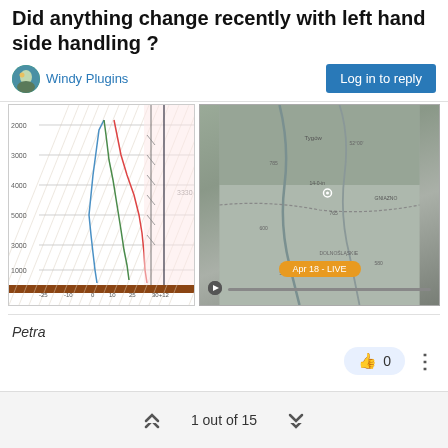Did anything change recently with left hand side handling ?
Windy Plugins
[Figure (continuous-plot): Skew-T log-P meteorological sounding diagram with temperature (red), dewpoint (green), and wind profile (blue) curves plotted on a skewed grid with diagonal lines. Y-axis shows altitude levels (1000 to 5000+), X-axis shows temperature values from approximately -25 to 30. Legend text is visible at bottom.]
[Figure (map): Grayscale weather map showing terrain with rivers, roads, and geographic labels. An orange button/label is visible near the bottom center. Play button and progress bar at bottom.]
Petra
0
1 out of 15